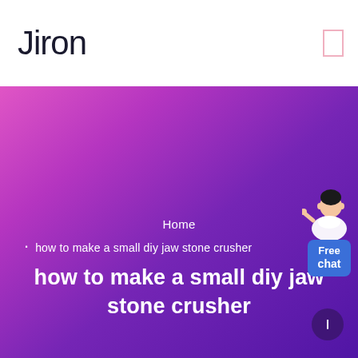Jiron
Home
how to make a small diy jaw stone crusher
how to make a small diy jaw stone crusher
[Figure (illustration): Free chat widget with a person illustration and blue chat button labeled 'Free chat']